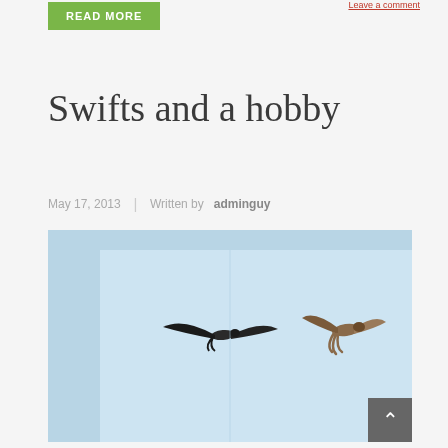[Figure (screenshot): Green READ MORE button at top left]
Leave a comment
Swifts and a hobby
May 17, 2013  |  Written by adminguy
[Figure (photo): Two birds in flight against a pale blue sky. Left bird is a swift with outstretched wings. Right bird appears to be a hobby falcon.]